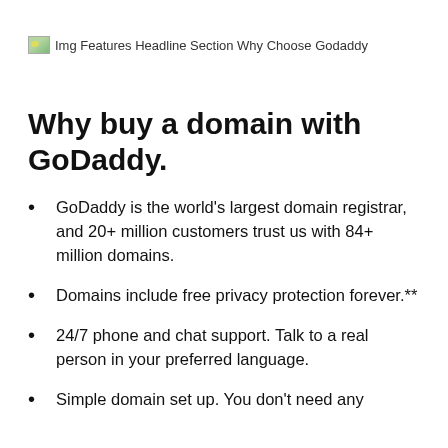[Figure (illustration): Broken image placeholder labeled 'Img Features Headline Section Why Choose Godaddy']
Why buy a domain with GoDaddy.
GoDaddy is the world's largest domain registrar, and 20+ million customers trust us with 84+ million domains.
Domains include free privacy protection forever.**
24/7 phone and chat support. Talk to a real person in your preferred language.
Simple domain set up. You don't need any